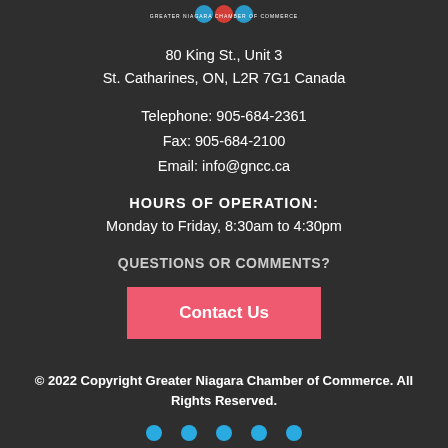[Figure (logo): Greater Niagara Chamber of Commerce logo (partial, top of page)]
80 King St., Unit 3
St. Catharines, ON, L2R 7G1 Canada
Telephone: 905-684-2361
Fax: 905-684-2100
Email: info@gncc.ca
HOURS OF OPERATION:
Monday to Friday, 8:30am to 4:30pm
QUESTIONS OR COMMENTS?
Contact Us
© 2022 Copyright Greater Niagara Chamber of Commerce. All Rights Reserved.